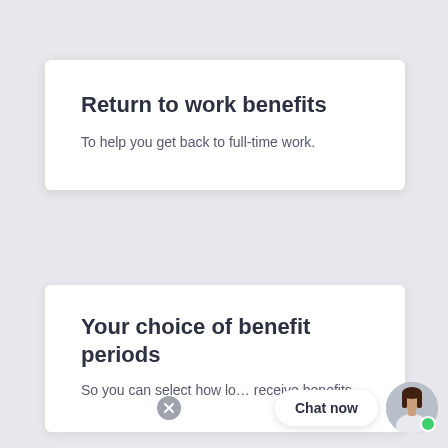Return to work benefits
To help you get back to full-time work.
Your choice of benefit periods
So you can select how lo… receive benefits.
[Figure (other): Chat now widget with female avatar and green online dot, with an X/close button overlay]